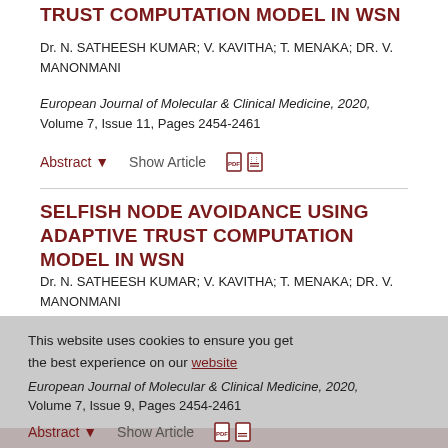TRUST COMPUTATION MODEL IN WSN (partial)
Dr. N. SATHEESH KUMAR; V. KAVITHA; T. MENAKA; DR. V. MANONMANI
European Journal of Molecular & Clinical Medicine, 2020, Volume 7, Issue 11, Pages 2454-2461
Abstract ▾   Show Article
SELFISH NODE AVOIDANCE USING ADAPTIVE TRUST COMPUTATION MODEL IN WSN
Dr. N. SATHEESH KUMAR; V. KAVITHA; T. MENAKA; DR. V. MANONMANI
European Journal of Molecular & Clinical Medicine, 2020, Volume 7, Issue 9, Pages 2454-2461
Abstract ▾   Show Article
This website uses cookies to ensure you get the best experience on our website
Got it!